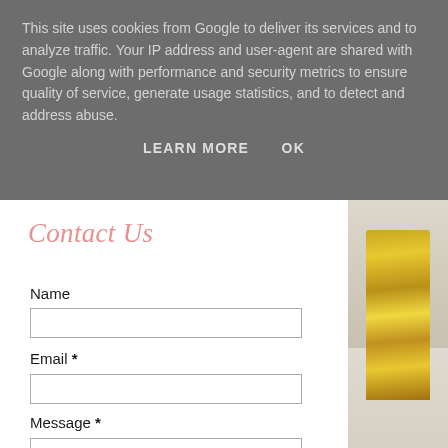This site uses cookies from Google to deliver its services and to analyze traffic. Your IP address and user-agent are shared with Google along with performance and security metrics to ensure quality of service, generate usage statistics, and to detect and address abuse.
LEARN MORE   OK
Contact Us
Name
Email *
Message *